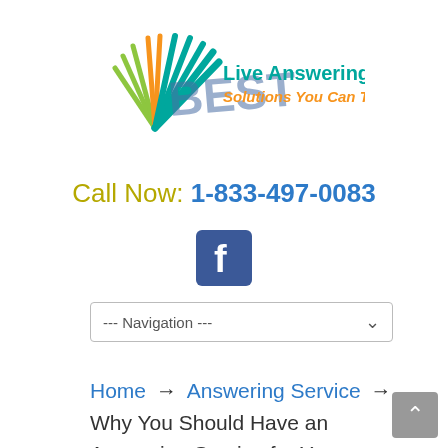[Figure (logo): Best Live Answering Service logo with colorful fan/rays graphic, 'BEST' text, 'Live Answering Service' in teal, and 'Solutions You Can Trust' in orange]
Call Now: 1-833-497-0083
[Figure (logo): Facebook icon button (blue square with white 'f')]
--- Navigation ---
Home → Answering Service → Why You Should Have an Answering Service for Your Medical Office